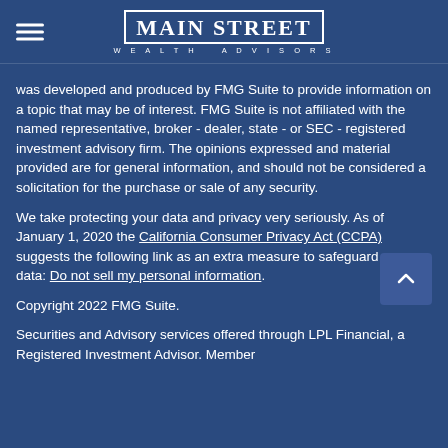Main Street Wealth Advisors
was developed and produced by FMG Suite to provide information on a topic that may be of interest. FMG Suite is not affiliated with the named representative, broker - dealer, state - or SEC - registered investment advisory firm. The opinions expressed and material provided are for general information, and should not be considered a solicitation for the purchase or sale of any security.
We take protecting your data and privacy very seriously. As of January 1, 2020 the California Consumer Privacy Act (CCPA) suggests the following link as an extra measure to safeguard your data: Do not sell my personal information.
Copyright 2022 FMG Suite.
Securities and Advisory services offered through LPL Financial, a Registered Investment Advisor. Member